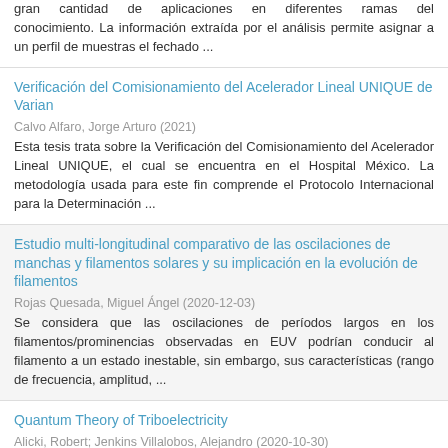gran cantidad de aplicaciones en diferentes ramas del conocimiento. La información extraída por el análisis permite asignar a un perfil de muestras el fechado ...
Verificación del Comisionamiento del Acelerador Lineal UNIQUE de Varian
Calvo Alfaro, Jorge Arturo (2021)
Esta tesis trata sobre la Verificación del Comisionamiento del Acelerador Lineal UNIQUE, el cual se encuentra en el Hospital México. La metodología usada para este fin comprende el Protocolo Internacional para la Determinación ...
Estudio multi-longitudinal comparativo de las oscilaciones de manchas y filamentos solares y su implicación en la evolución de filamentos
Rojas Quesada, Miguel Ángel (2020-12-03)
Se considera que las oscilaciones de períodos largos en los filamentos/prominencias observadas en EUV podrían conducir al filamento a un estado inestable, sin embargo, sus características (rango de frecuencia, amplitud, ...
Quantum Theory of Triboelectricity
Alicki, Robert; Jenkins Villalobos, Alejandro (2020-10-30)